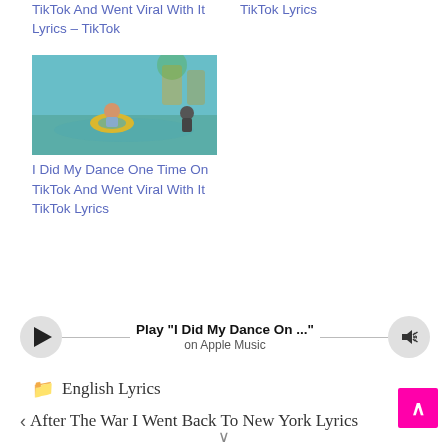TikTok And Went Viral With It Lyrics – TikTok
TikTok Lyrics
[Figure (photo): Thumbnail image of a child in a yellow inflatable ring in a pool]
I Did My Dance One Time On TikTok And Went Viral With It TikTok Lyrics
Play "I Did My Dance On ..." on Apple Music
English Lyrics
After The War I Went Back To New York Lyrics